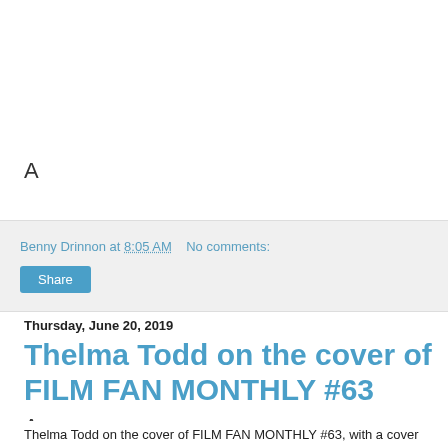A
Benny Drinnon at 8:05 AM   No comments:
Share
Thursday, June 20, 2019
Thelma Todd on the cover of FILM FAN MONTHLY #63
A
Thelma Todd on the cover of FILM FAN MONTHLY #63, with a cover